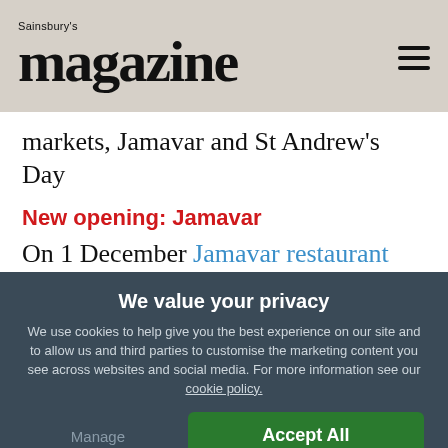Sainsbury's magazine
markets, Jamavar and St Andrew's Day
New opening: Jamavar
On 1 December Jamavar restaurant will open in London's Mayfair, inspired by the Leela Palace hotels in India. Rohit Ghai heads up the kitchen, which will serve up sharing
We value your privacy
We use cookies to help give you the best experience on our site and to allow us and third parties to customise the marketing content you see across websites and social media. For more information see our cookie policy.
Manage Preferences
Accept All Cookies